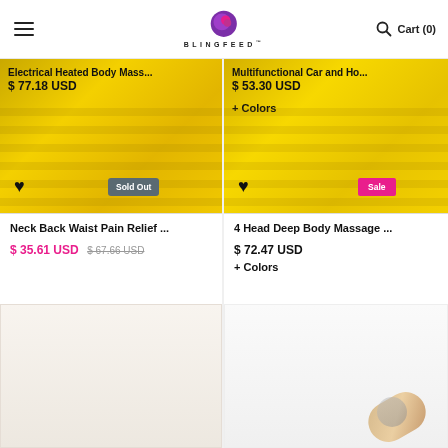BLINGFEED — Cart (0)
Electrical Heated Body Mass... $ 77.18 USD
Multifunctional Car and Ho... $ 53.30 USD + Colors
[Figure (photo): Yellow painted brick wall / yellow surface product images background]
Neck Back Waist Pain Relief ... $ 35.61 USD $ 67.66 USD
4 Head Deep Body Massage ... $ 72.47 USD + Colors
[Figure (photo): Bottom partial product images — white background product on left, product on right]